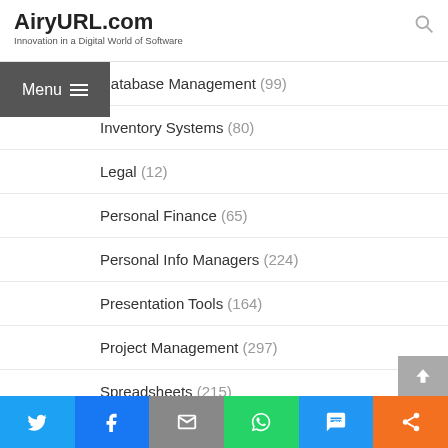AiryURL.com — Innovation in a Digital World of Software
Database Management (99)
Inventory Systems (80)
Legal (12)
Personal Finance (65)
Personal Info Managers (224)
Presentation Tools (164)
Project Management (297)
Spreadsheets (215)